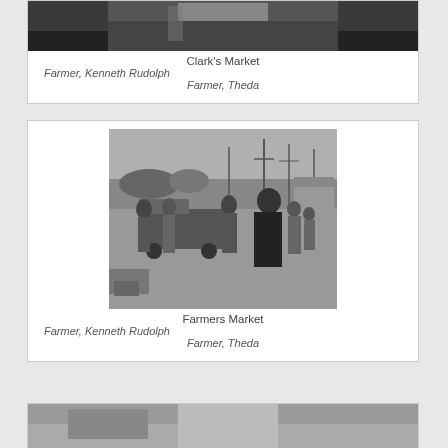[Figure (photo): Black and white photo of Clark's Market, partially cropped at top]
Clark's Market
Farmer, Kenneth Rudolph
Farmer, Theda
[Figure (photo): Black and white photo of a Farmers Market scene with people standing around a truck outdoors, utility poles and a building visible in background]
Farmers Market
Farmer, Kenneth Rudolph
Farmer, Theda
[Figure (photo): Partial black and white photo at bottom, cropped]